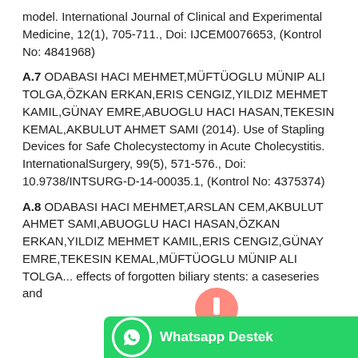model. International Journal of Clinical and Experimental Medicine, 12(1), 705-711., Doi: IJCEM0076653, (Kontrol No: 4841968)
A.7 ODABASI HACI MEHMET,MÜFTÜOGLU MÜNIP ALI TOLGA,ÖZKAN ERKAN,ERIS CENGIZ,YILDIZ MEHMET KAMIL,GÜNAY EMRE,ABUOGLU HACI HASAN,TEKESIN KEMAL,AKBULUT AHMET SAMI (2014). Use of Stapling Devices for Safe Cholecystectomy in Acute Cholecystitis. InternationalSurgery, 99(5), 571-576., Doi: 10.9738/INTSURG-D-14-00035.1, (Kontrol No: 4375374)
A.8 ODABASI HACI MEHMET,ARSLAN CEM,AKBULUT AHMET SAMI,ABUOGLU HACI HASAN,ÖZKAN ERKAN,YILDIZ MEHMET KAMIL,ERIS CENGIZ,GÜNAY EMRE,TEKESIN KEMAL,MÜFTÜOGLU MÜNIP ALI TOLGA... effects of forgotten biliary stents: a caseseries and